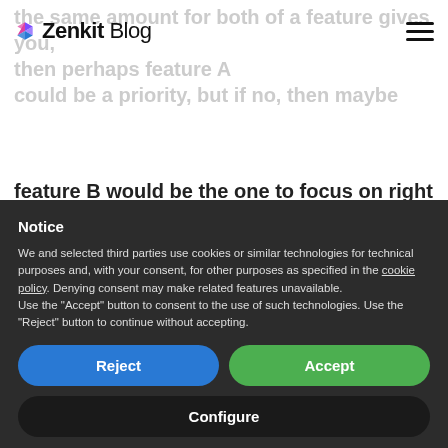Zenkit Blog
the same amount for both of a feature gives you, then perhaps feature A could be a priority, but if no, then maybe feature B would be the one to focus on right now.
Thinking ahead can save you from any
Notice
We and selected third parties use cookies or similar technologies for technical purposes and, with your consent, for other purposes as specified in the cookie policy. Denying consent may make related features unavailable.
Use the "Accept" button to consent to the use of such technologies. Use the "Reject" button to continue without accepting.
Reject
Accept
Configure